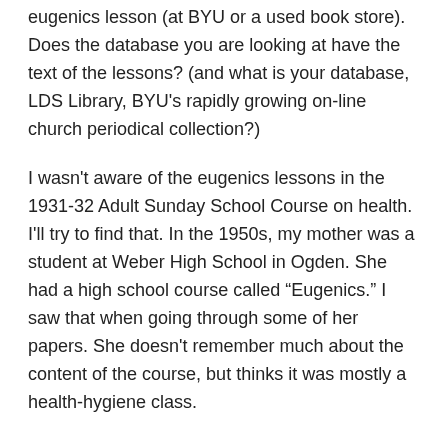eugenics lesson (at BYU or a used book store). Does the database you are looking at have the text of the lessons? (and what is your database, LDS Library, BYU's rapidly growing on-line church periodical collection?)
I wasn't aware of the eugenics lessons in the 1931-32 Adult Sunday School Course on health. I'll try to find that. In the 1950s, my mother was a student at Weber High School in Ogden. She had a high school course called “Eugenics.” I saw that when going through some of her papers. She doesn't remember much about the content of the course, but thinks it was mostly a health-hygiene class.